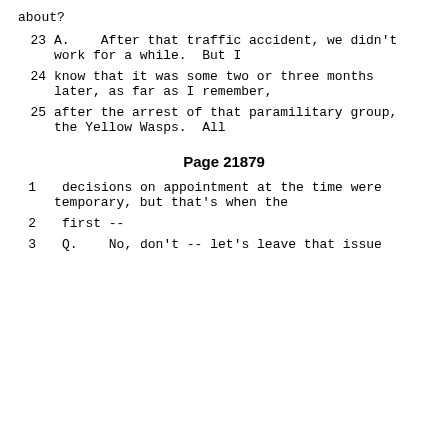about?
23        A.    After that traffic accident, we didn't work for a while.  But I
24        know that it was some two or three months later, as far as I remember,
25        after the arrest of that paramilitary group, the Yellow Wasps.  All
Page 21879
1        decisions on appointment at the time were temporary, but that's when the
2        first --
3        Q.    No, don't -- let's leave that issue